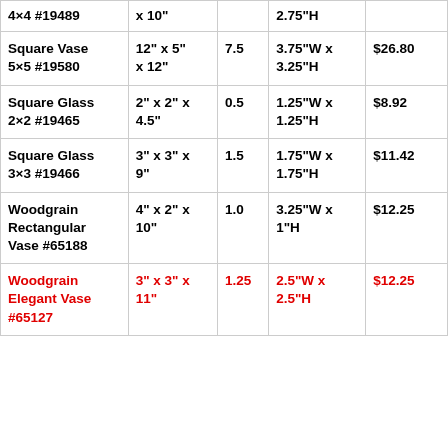| 4×4 #19489 | x 10" |  | 2.75"H |  |
| Square Vase 5×5 #19580 | 12" x 5" x 12" | 7.5 | 3.75"W x 3.25"H | $26.80 |
| Square Glass 2×2 #19465 | 2" x 2" x 4.5" | 0.5 | 1.25"W x 1.25"H | $8.92 |
| Square Glass 3×3 #19466 | 3" x 3" x 9" | 1.5 | 1.75"W x 1.75"H | $11.42 |
| Woodgrain Rectangular Vase #65188 | 4" x 2" x 10" | 1.0 | 3.25"W x 1"H | $12.25 |
| Woodgrain Elegant Vase #65127 | 3" x 3" x 11" | 1.25 | 2.5"W x 2.5"H | $12.25 |